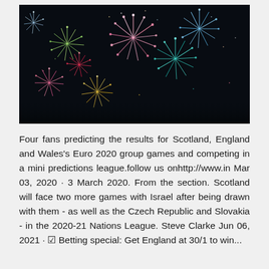[Figure (photo): Photograph of colorful fireworks exploding against a dark night sky. Multiple bursts of pink, blue, green, yellow, and white fireworks visible across the image.]
Four fans predicting the results for Scotland, England and Wales's Euro 2020 group games and competing in a mini predictions league.follow us onhttp://www.in Mar 03, 2020 · 3 March 2020. From the section. Scotland will face two more games with Israel after being drawn with them - as well as the Czech Republic and Slovakia - in the 2020-21 Nations League. Steve Clarke Jun 06, 2021 · ✓ Betting special: Get England at 30/1 to win...